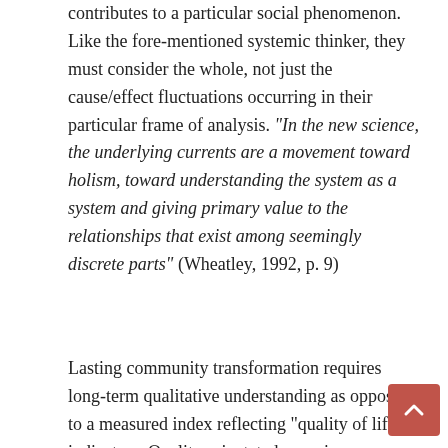contributes to a particular social phenomenon. Like the fore-mentioned systemic thinker, they must consider the whole, not just the cause/effect fluctuations occurring in their particular frame of analysis. "In the new science, the underlying currents are a movement toward holism, toward understanding the system as a system and giving primary value to the relationships that exist among seemingly discrete parts" (Wheatley, 1992, p. 9)
Lasting community transformation requires long-term qualitative understanding as opposed to a measured index reflecting "quality of life" indicators. Quality orientated consciousness appreciates the preciousness of life and leadership of this nature seeks to foster a sense of purposefulness in community members. In its absence, communities are not fully anchored...